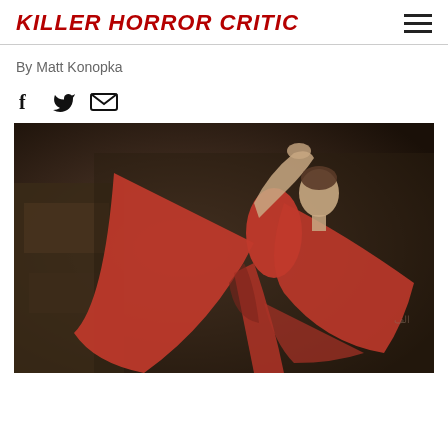KILLER HORROR CRITIC
By Matt Konopka
[Figure (other): Social share icons: Facebook (f), Twitter (bird), Email (envelope)]
[Figure (photo): A woman in a flowing red robe/dress with arms outstretched, standing in a dark stone architectural setting. She faces right in profile.]